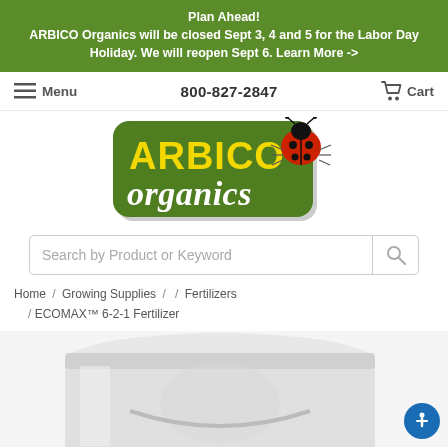Plan Ahead! ARBICO Organics will be closed Sept 3, 4 and 5 for the Labor Day Holiday. We will reopen Sept 6. Learn More ->
Menu  800-827-2847  Cart
[Figure (logo): ARBICO Organics logo — green rounded rectangle with yellow ARBICO text, white organics italic text, and a ladybug illustration]
Search by Product or Keyword
Home / Growing Supplies / / Fertilizers / ECOMAX™ 6-2-1 Fertilizer
[Figure (photo): Top portion of a white plastic bucket/pail product (ECOMAX 6-2-1 Fertilizer) on white background]